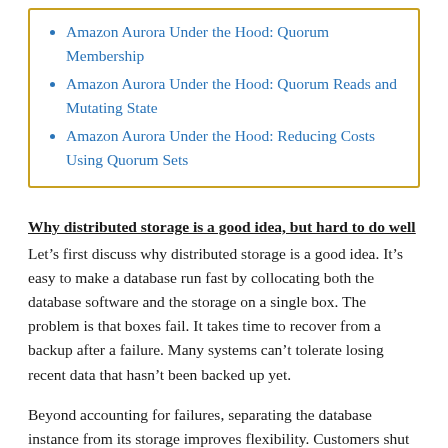Amazon Aurora Under the Hood: Quorum Membership
Amazon Aurora Under the Hood: Quorum Reads and Mutating State
Amazon Aurora Under the Hood: Reducing Costs Using Quorum Sets
Why distributed storage is a good idea, but hard to do well
Let’s first discuss why distributed storage is a good idea. It’s easy to make a database run fast by collocating both the database software and the storage on a single box. The problem is that boxes fail. It takes time to recover from a backup after a failure. Many systems can’t tolerate losing recent data that hasn’t been backed up yet.
Beyond accounting for failures, separating the database instance from its storage improves flexibility. Customers shut databases down. They size them up and down. They add and remove read replicas. Decoupling the storage from the database makes these